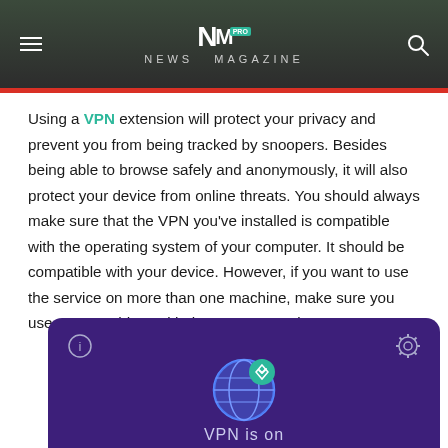NM PRO NEWS MAGAZINE
Using a VPN extension will protect your privacy and prevent you from being tracked by snoopers. Besides being able to browse safely and anonymously, it will also protect your device from online threats. You should always make sure that the VPN you've installed is compatible with the operating system of your computer. It should be compatible with your device. However, if you want to use the service on more than one machine, make sure you use a VPN add-on with the same operating system.
[Figure (screenshot): VPN browser extension interface showing a purple/dark background with a globe icon protected by a shield badge, info icon top-left, gear icon top-right, and text 'VPN is on' at the bottom.]